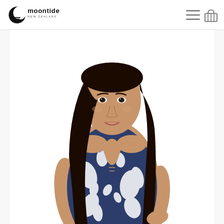[Figure (logo): Moontide New Zealand brand logo with crescent moon/wave icon]
[Figure (other): Navigation icons: hamburger menu and shopping basket]
[Figure (photo): Female model wearing a navy blue and white floral print halter tankini top with lace-up front detail, photographed against white background]